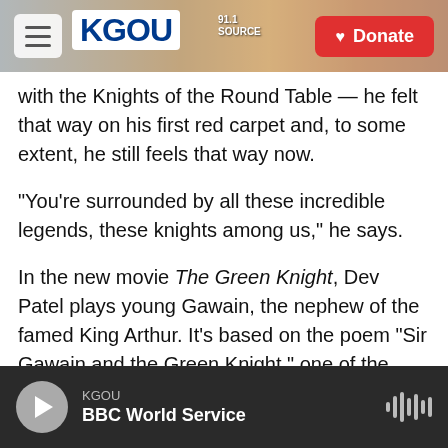[Figure (screenshot): KGOU radio station website header with hamburger menu, KGOU logo, city background photo, and red Donate button]
with the Knights of the Round Table — he felt that way on his first red carpet and, to some extent, he still feels that way now.
"You're surrounded by all these incredible legends, these knights among us," he says.
In the new movie The Green Knight, Dev Patel plays young Gawain, the nephew of the famed King Arthur. It's based on the poem "Sir Gawain and the Green Knight," one of the best known stories in the King Arthur legend.
"I could really relate to this young man who was
KGOU — BBC World Service